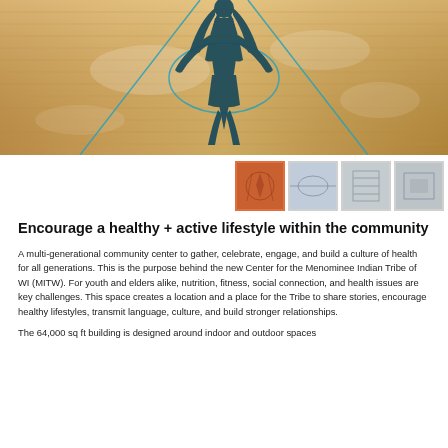[Figure (photo): Interior photo of a gymnasium/sports court with hardwood floor and blue court lines, featuring a large dark teal Native American figure/logo painted on the court floor. The photo shows the court from an elevated angle with natural lighting.]
[Figure (photo): Row of four thumbnail images: first (active/selected) showing an orange/terracotta architectural rendering, second showing an interior gymnasium view, third showing a building exterior or corridor, fourth showing an interior space.]
Encourage a healthy + active lifestyle within the community
A multi-generational community center to gather, celebrate, engage, and build a culture of health for all generations. This is the purpose behind the new Center for the Menominee Indian Tribe of WI (MITW). For youth and elders alike, nutrition, fitness, social connection, and health issues are key challenges. This space creates a location and a place for the Tribe to share stories, encourage healthy lifestyles, transmit language, culture, and build stronger relationships.
The 64,000 sq ft building is designed around indoor and outdoor spaces